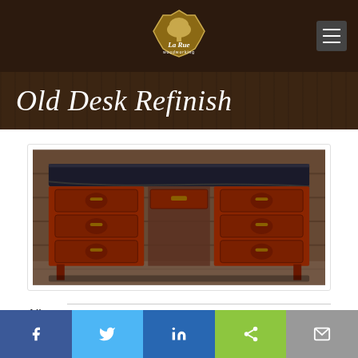La Rue woodworking
Old Desk Refinish
[Figure (photo): Old wooden desk with multiple drawers and brass hardware, showing worn dark finish, photographed in a rustic setting]
All